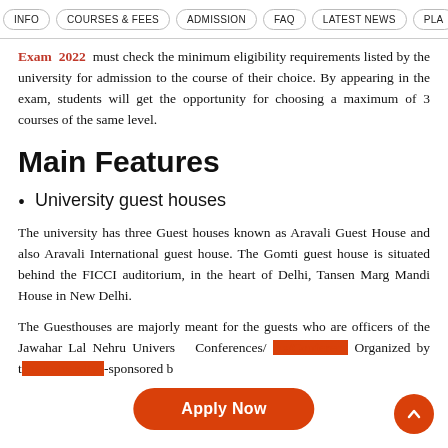INFO | COURSES & FEES | ADMISSION | FAQ | LATEST NEWS | PLA...
Exam 2022 must check the minimum eligibility requirements listed by the university for admission to the course of their choice. By appearing in the exam, students will get the opportunity for choosing a maximum of 3 courses of the same level.
Main Features
University guest houses
The university has three Guest houses known as Aravali Guest House and also Aravali International guest house. The Gomti guest house is situated behind the FICCI auditorium, in the heart of Delhi, Tansen Marg Mandi House in New Delhi.
The Guesthouses are majorly meant for the guests who are officers of the Jawahar Lal Nehru University Conferences/ Seminars/Conferences Organized by the university-sponsored by...